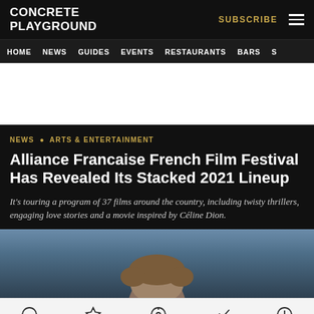CONCRETE PLAYGROUND
HOME  NEWS  GUIDES  EVENTS  RESTAURANTS  BARS  S
[Figure (illustration): White advertisement space / banner area]
NEWS  ARTS & ENTERTAINMENT
Alliance Francaise French Film Festival Has Revealed Its Stacked 2021 Lineup
It's touring a program of 37 films around the country, including twisty thrillers, engaging love stories and a movie inspired by Céline Dion.
[Figure (photo): Top of a person's head with brown hair against a blue background]
Home  Featured  Nearby  Popular  Latest